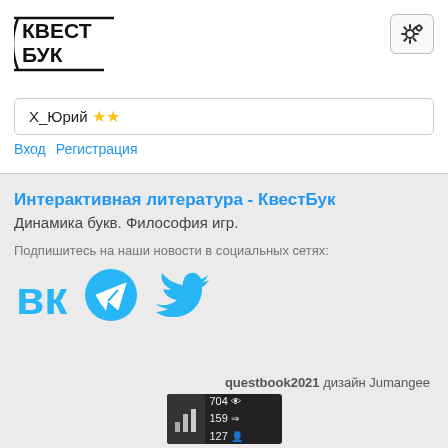[Figure (logo): КвестБук logo with crossed lines and book motif]
[Figure (screenshot): Settings gear icon button in top right]
Х_Юрий ★★
Вход  Регистрация
Интерактивная литература - КвестБук
Динамика букв. Философия игр.
Подпишитесь на наши новости в социальных сетях:
[Figure (logo): VK, Telegram, and Twitter social media icons]
questbook2021 дизайн Jumangee
[Figure (screenshot): Site statistics counter showing 704 views, 159 entries, 127 users]